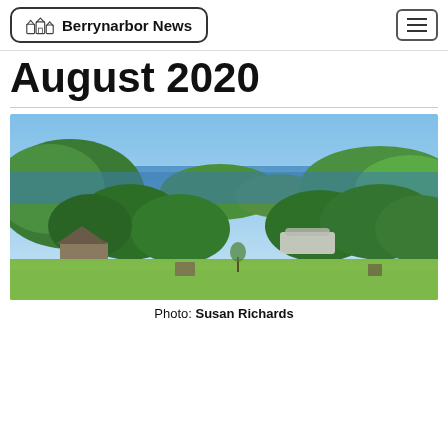Berrynarbor News
August 2020
[Figure (photo): Aerial/elevated landscape view showing a coastal scene with green hills, wooded areas, a small bay with boats, and caravans/camping area in the foreground, blue sea and sky in the background.]
Photo: Susan Richards